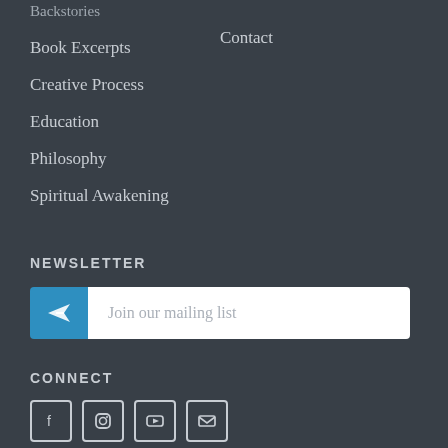Backstories
Contact
Book Excerpts
Creative Process
Education
Philosophy
Spiritual Awakening
NEWSLETTER
Join our mailing list
CONNECT